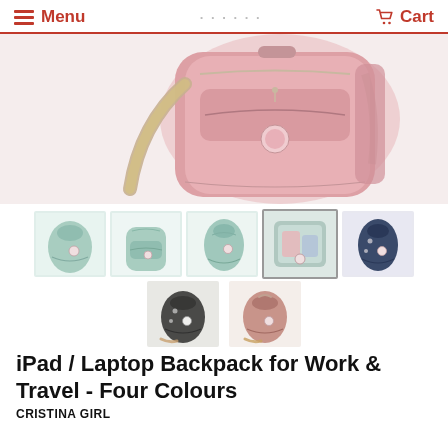Menu | Cart
[Figure (photo): Main product photo of a pink iPad/Laptop backpack, showing the front and side of the bag with zipper pockets and straps, on a light pink background.]
[Figure (photo): Row of 5 thumbnail images of backpacks in various colors (mint/teal, mint/teal front, mint/teal side, open interior view, dark navy), plus a second row with 2 thumbnails (dark grey/black, rose gold/pink).]
iPad / Laptop Backpack for Work & Travel - Four Colours
CRISTINA GIRL